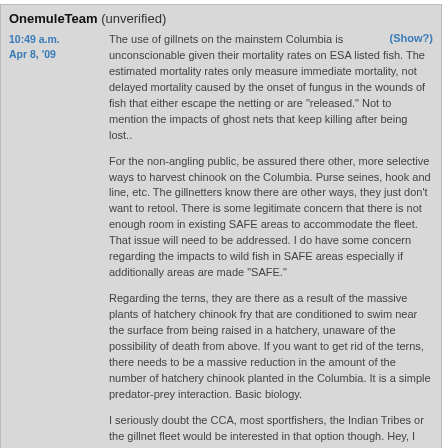OnemuleTeam (unverified)
The use of gillnets on the mainstem Columbia is unconscionable given their mortality rates on ESA listed fish. The estimated mortality rates only measure immediate mortality, not delayed mortality caused by the onset of fungus in the wounds of fish that either escape the netting or are "released." Not to mention the impacts of ghost nets that keep killing after being lost..
For the non-angling public, be assured there other, more selective ways to harvest chinook on the Columbia. Purse seines, hook and line, etc. The gillnetters know there are other ways, they just don't want to retool. There is some legitimate concern that there is not enough room in existing SAFE areas to accommodate the fleet. That issue will need to be addressed. I do have some concern regarding the impacts to wild fish in SAFE areas especially if additionally areas are made "SAFE."
Regarding the terns, they are there as a result of the massive plants of hatchery chinook fry that are conditioned to swim near the surface from being raised in a hatchery, unaware of the possibility of death from above. If you want to get rid of the terns, there needs to be a massive reduction in the amount of the number of hatchery chinook planted in the Columbia. It is a simple predator-prey interaction. Basic biology.
I seriously doubt the CCA, most sportfishers, the Indian Tribes or the gillnet fleet would be interested in that option though. Hey, I may have found the common ground Betty Johnson suggested looking for.
Jamais: The SfS proposal deals with the issue of harvest of hatchery salmon that increases economic benefit to Oregon and Washington. It